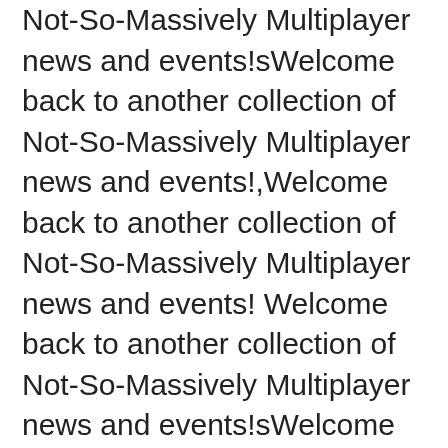Not-So-Massively Multiplayer news and events!sWelcome back to another collection of Not-So-Massively Multiplayer news and events!,Welcome back to another collection of Not-So-Massively Multiplayer news and events! Welcome back to another collection of Not-So-Massively Multiplayer news and events!sWelcome back to another collection of Not-So-Massively Multiplayer news and events!iWelcome back to another collection of Not-So-Massively Multiplayer news and events!tWelcome back to another collection of Not-So-Massively Multiplayer news and events! Welcome back to another collection of Not-So-Massively Multiplayer news and events!tWelcome back to another collection of Not-So-